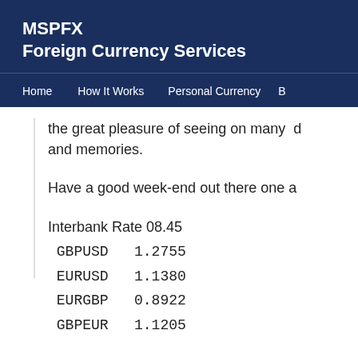MSPFX
Foreign Currency Services
Home   How It Works   Personal Currency   B
the great pleasure of seeing on many  d and memories.
Have a good week-end out there one a
Interbank Rate 08.45
GBPUSD   1.2755
EURUSD   1.1380
EURGBP   0.8922
GBPEUR   1.1205